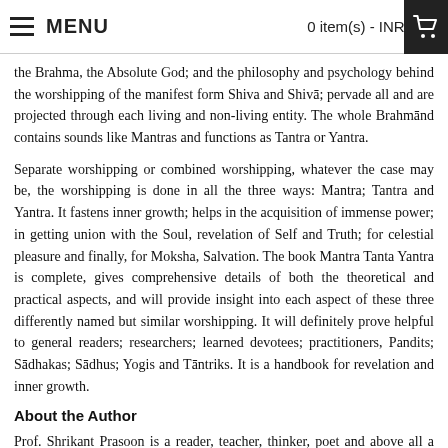MENU   0 item(s) - INR 0.00
the Brahma, the Absolute God; and the philosophy and psychology behind the worshipping of the manifest form Shiva and Shivā; pervade all and are projected through each living and non-living entity. The whole Brahmānd contains sounds like Mantras and functions as Tantra or Yantra.
Separate worshipping or combined worshipping, whatever the case may be, the worshipping is done in all the three ways: Mantra; Tantra and Yantra. It fastens inner growth; helps in the acquisition of immense power; in getting union with the Soul, revelation of Self and Truth; for celestial pleasure and finally, for Moksha, Salvation. The book Mantra Tanta Yantra is complete, gives comprehensive details of both the theoretical and practical aspects, and will provide insight into each aspect of these three differently named but similar worshipping. It will definitely prove helpful to general readers; researchers; learned devotees; practitioners, Pandits; Sādhakas; Sādhus; Yogis and Tāntriks. It is a handbook for revelation and inner growth.
About the Author
Prof. Shrikant Prasoon is a reader, teacher, thinker, poet and above all a humanist. The more he reads and thinks, the